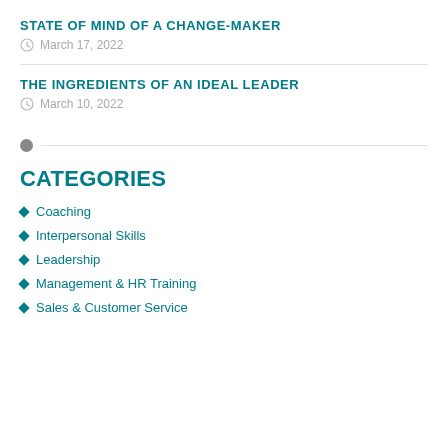STATE OF MIND OF A CHANGE-MAKER
March 17, 2022
THE INGREDIENTS OF AN IDEAL LEADER
March 10, 2022
CATEGORIES
Coaching
Interpersonal Skills
Leadership
Management & HR Training
Sales & Customer Service